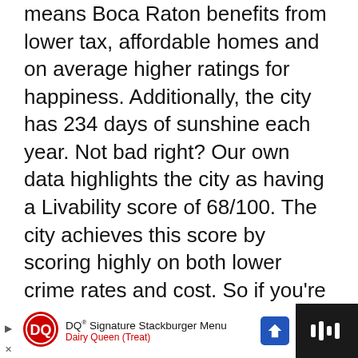means Boca Raton benefits from lower tax, affordable homes and on average higher ratings for happiness. Additionally, the city has 234 days of sunshine each year. Not bad right? Our own data highlights the city as having a Livability score of 68/100. The city achieves this score by scoring highly on both lower crime rates and cost. So if you're considering a move to Boca Raton for retirement, rest assured you'll have both financial and physical security catered fo
[Figure (screenshot): WHAT'S NEXT arrow label with thumbnail image of beach city and text '10 Best Beach Cities to Liv...']
[Figure (infographic): Advertisement bar: DQ Signature Stackburger Menu, Dairy Queen (Treat) with DQ logo and blue arrow button, and dark panel on right with audio/media icon]